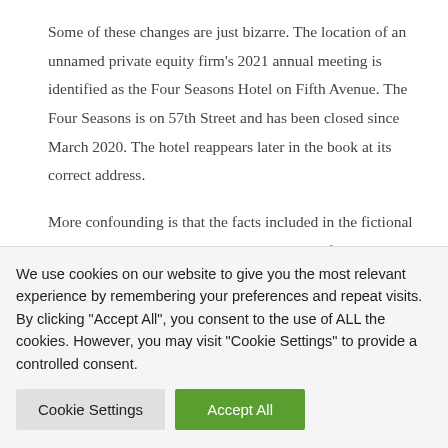Some of these changes are just bizarre. The location of an unnamed private equity firm's 2021 annual meeting is identified as the Four Seasons Hotel on Fifth Avenue. The Four Seasons is on 57th Street and has been closed since March 2020. The hotel reappears later in the book at its correct address.
More confounding is that the facts included in the fictional sketches, whether inspired or just made up, often contradict the broader portrait that Khajuria is trying to paint. On the one hand, he wants to correct misconceptions about this industry promoted by
We use cookies on our website to give you the most relevant experience by remembering your preferences and repeat visits. By clicking "Accept All", you consent to the use of ALL the cookies. However, you may visit "Cookie Settings" to provide a controlled consent.